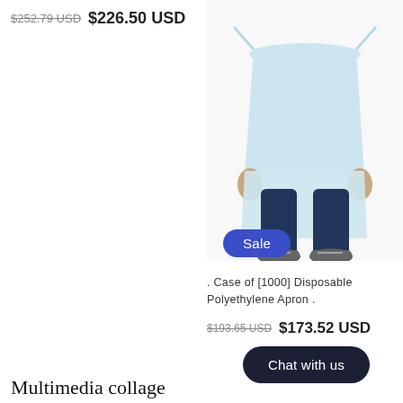$252.79 USD  $226.50 USD
[Figure (photo): Person wearing a light blue disposable polyethylene apron, showing the lower half of the body including dark jeans and sneakers, against a white background.]
Sale
. Case of [1000] Disposable Polyethylene Apron .
$193.65 USD  $173.52 USD
Chat with us
Multimedia collage